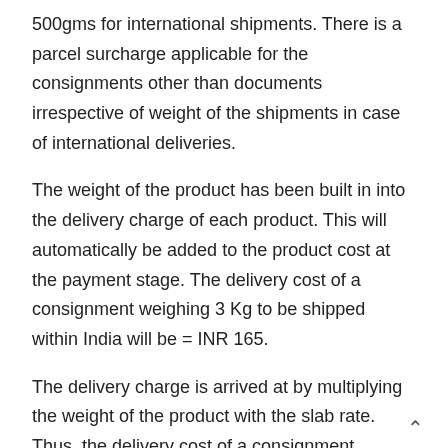500gms for international shipments. There is a parcel surcharge applicable for the consignments other than documents irrespective of weight of the shipments in case of international deliveries.
The weight of the product has been built in into the delivery charge of each product. This will automatically be added to the product cost at the payment stage. The delivery cost of a consignment weighing 3 Kg to be shipped within India will be = INR 165.
The delivery charge is arrived at by multiplying the weight of the product with the slab rate. Thus, the delivery cost of a consignment weighing 3 Kg to USA will be (789+(5*213)) = INR 1854.